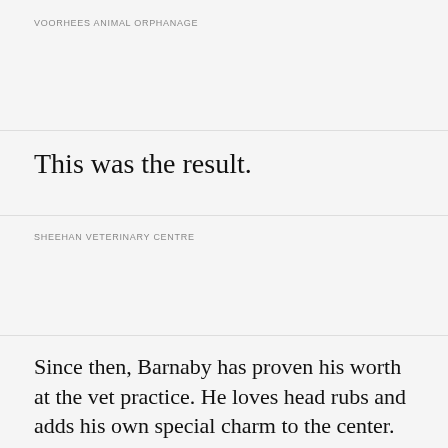VOORHEES ANIMAL ORPHANAGE
This was the result.
SHEEHAN VETERINARY CENTRE
Since then, Barnaby has proven his worth at the vet practice. He loves head rubs and adds his own special charm to the center. Savoring his new senior food, he's gained almost a pound and looks better than he has for a